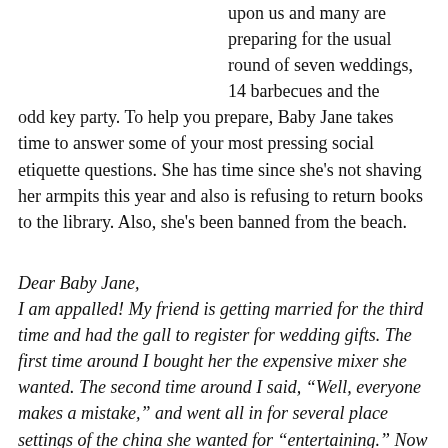upon us and many are preparing for the usual round of seven weddings, 14 barbecues and the odd key party. To help you prepare, Baby Jane takes time to answer some of your most pressing social etiquette questions. She has time since she's not shaving her armpits this year and also is refusing to return books to the library. Also, she's been banned from the beach.
Dear Baby Jane,
I am appalled! My friend is getting married for the third time and had the gall to register for wedding gifts. The first time around I bought her the expensive mixer she wanted. The second time around I said, "Well, everyone makes a mistake," and went all in for several place settings of the china she wanted for "entertaining." Now I'm on the hook for another gift? Can I decline? Should I just put $20 in an envelope and call it good? Even more horrifying – she's going for the white princess wedding gown. I told her I think she should go with a